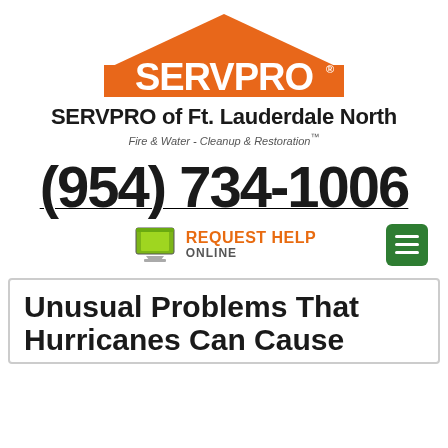[Figure (logo): SERVPRO logo: orange house/rooftop shape with white SERVPRO text and registered trademark symbol]
SERVPRO of Ft. Lauderdale North
Fire & Water - Cleanup & Restoration™
(954) 734-1006
[Figure (infographic): REQUEST HELP ONLINE button with green computer monitor icon and orange text, plus green hamburger menu button]
Unusual Problems That Hurricanes Can Cause